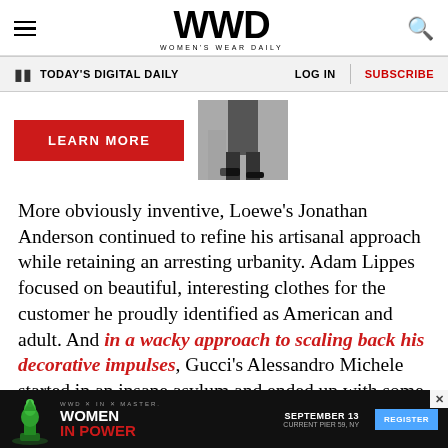WWD — Women's Wear Daily
TODAY'S DIGITAL DAILY | LOG IN | SUBSCRIBE
[Figure (screenshot): LEARN MORE red button and a black-and-white fashion photo of legs in heels]
More obviously inventive, Loewe's Jonathan Anderson continued to refine his artisanal approach while retaining an arresting urbanity. Adam Lippes focused on beautiful, interesting clothes for the customer he proudly identified as American and adult. And in a wacky approach to scaling back his decorative impulses, Gucci's Alessandro Michele started in an insane asylum and ended up with some unsubtle nods to his fa
[Figure (screenshot): Advertisement banner: WWD x IN x MASTER. WOMEN IN POWER. SEPTEMBER 13. CURRENT PIER 59, NY. REGISTER button.]